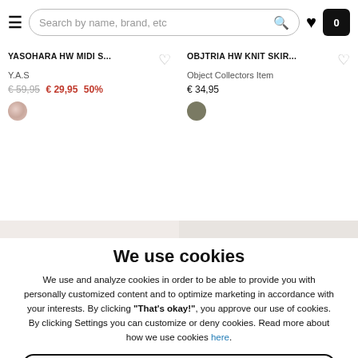Search by name, brand, etc
YASOHARA HW MIDI S...
Y.A.S
€ 59,95  € 29,95  50%
OBJTRIA HW KNIT SKIR...
Object Collectors Item
€ 34,95
We use cookies
We use and analyze cookies in order to be able to provide you with personally customized content and to optimize marketing in accordance with your interests. By clicking "That's okay!", you approve our use of cookies. By clicking Settings you can customize or deny cookies. Read more about how we use cookies here.
THAT'S OKAY!
Settings